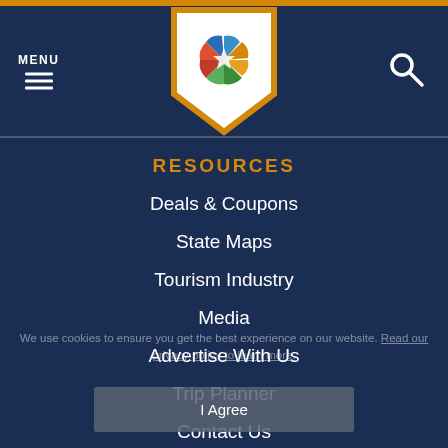MENU
[Figure (logo): Colorful star/pinwheel logo on white shield badge with orange border]
RESOURCES
Deals & Coupons
State Maps
Tourism Industry
Media
Advertise With Us
Trip Planner
Contact Us
We use cookies to ensure you get the best experience on our website. Read our privacy policy to learn more.
I Agree